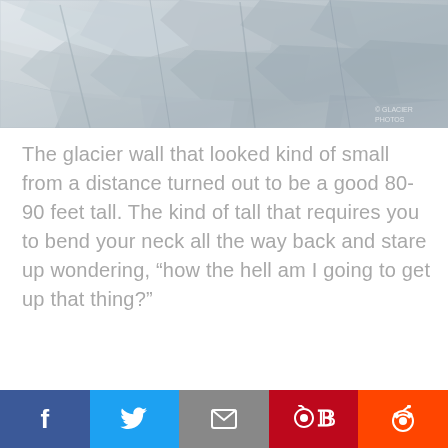[Figure (photo): Close-up aerial or angled view of a glacier wall with snow, ice, and rocky textures in grey and white tones.]
The glacier wall that looked kind of small from a distance turned out to be a good 80-90 feet tall. The kind of tall that requires you to bend your neck all the way back and stare up wondering, “how the hell am I going to get up that thing?”
Facebook | Twitter | Email | Pinterest | Reddit social sharing buttons